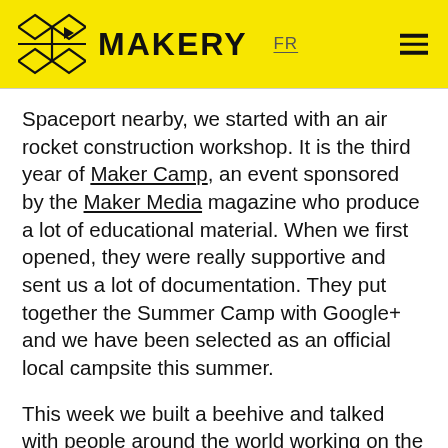MAKERY FR
Spaceport nearby, we started with an air rocket construction workshop. It is the third year of Maker Camp, an event sponsored by the Maker Media magazine who produce a lot of educational material. When we first opened, they were really supportive and sent us a lot of documentation. They put together the Summer Camp with Google+ and we have been selected as an official local campsite this summer.
This week we built a beehive and talked with people around the world working on the same project. Make and Google+ provide everyday hangouts with video-conferences. Makers talk about what they are doing, we send questions